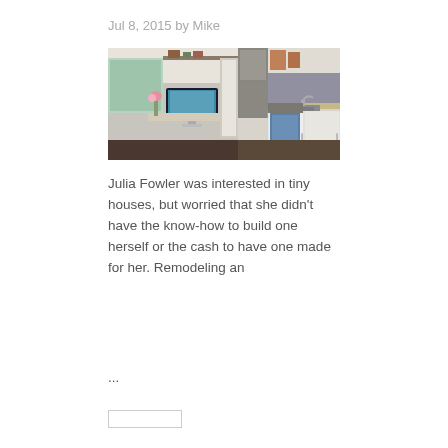Jul 8, 2015 by Mike
[Figure (photo): Interior of a small renovated trailer/RV showing a workspace with an iMac computer on a curved desk, flowers, cabinets with storage, and a kitchen area with sink, stove, and cabinetry on the right side.]
Julia Fowler was interested in tiny houses, but worried that she didn't have the know-how to build one herself or the cash to have one made for her. Remodeling an
...